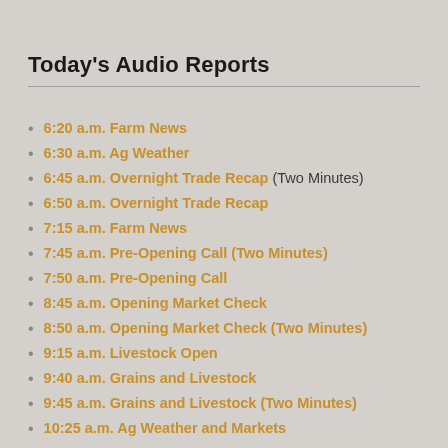Today's Audio Reports
6:20 a.m. Farm News
6:30 a.m. Ag Weather
6:45 a.m. Overnight Trade Recap (Two Minutes)
6:50 a.m. Overnight Trade Recap
7:15 a.m. Farm News
7:45 a.m. Pre-Opening Call (Two Minutes)
7:50 a.m. Pre-Opening Call
8:45 a.m. Opening Market Check
8:50 a.m. Opening Market Check (Two Minutes)
9:15 a.m. Livestock Open
9:40 a.m. Grains and Livestock
9:45 a.m. Grains and Livestock (Two Minutes)
10:25 a.m. Ag Weather and Markets